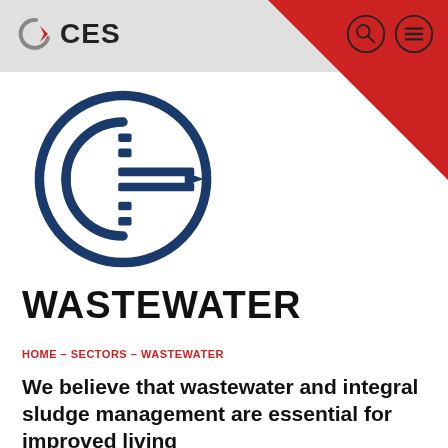CES
[Figure (logo): CES wastewater sector circular logo with horizontal lines and arrow, dark navy blue]
WASTEWATER
HOME – SECTORS – WASTEWATER
We believe that wastewater and integral sludge management are essential for improved living